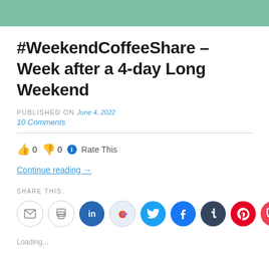[Figure (other): Green teal header bar at top of page]
#WeekendCoffeeShare – Week after a 4-day Long Weekend
PUBLISHED ON June 4, 2022
10 Comments
👍 0 👎 0 ℹ Rate This
Continue reading →
SHARE THIS:
[Figure (other): Share icons row: email, print, LinkedIn, Reddit, Twitter, Facebook, Tumblr, Pinterest, Pocket]
Loading...